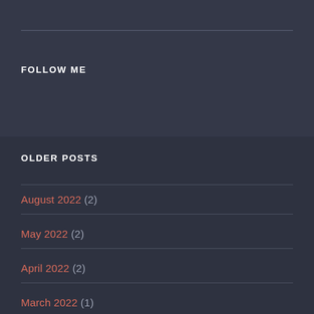FOLLOW ME
OLDER POSTS
August 2022 (2)
May 2022 (2)
April 2022 (2)
March 2022 (1)
February 2022 (1)